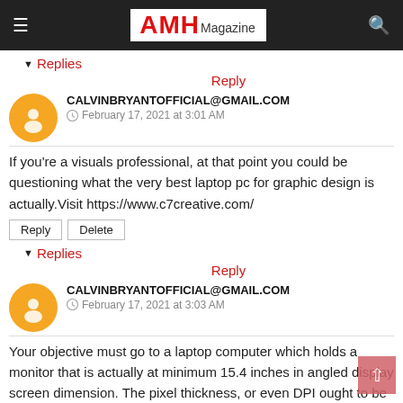AMH Magazine
▼ Replies
Reply
CALVINBRYANTOFFICIAL@GMAIL.COM
February 17, 2021 at 3:01 AM
If you're a visuals professional, at that point you could be questioning what the very best laptop pc for graphic design is actually.Visit https://www.c7creative.com/
▼ Replies
Reply
CALVINBRYANTOFFICIAL@GMAIL.COM
February 17, 2021 at 3:03 AM
Your objective must go to a laptop computer which holds a monitor that is actually at minimum 15.4 inches in angled display screen dimension. The pixel thickness, or even DPI ought to be actually higher.Visit https://www.c7creative.com/